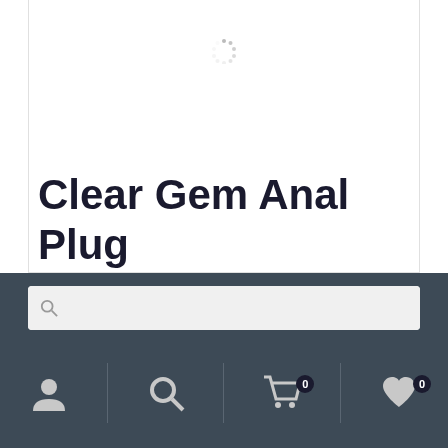[Figure (other): Loading spinner icon centered near top of product card]
Clear Gem Anal Plug
$8.99 – $14.99
Navigation bar with account, search, cart (0), and wishlist (0) icons